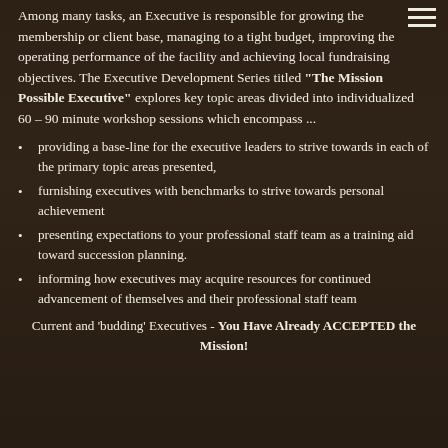Among many tasks, an Executive is responsible for growing the membership or client base, managing to a tight budget, improving the operating performance of the facility and achieving local fundraising objectives. The Executive Development Series titled "The Mission Possible Executive" explores key topic areas divided into individualized 60 – 90 minute workshop sessions which encompass ...
providing a base-line for the executive leaders to strive towards in each of the primary topic areas presented,
furnishing executives with benchmarks to strive towards personal achievement
presenting expectations to your professional staff team as a training aid toward succession planning.
informing how executives may acquire resources for continued advancement of themselves and their professional staff team
Current and 'budding' Executives - You Have Already ACCEPTED the Mission!